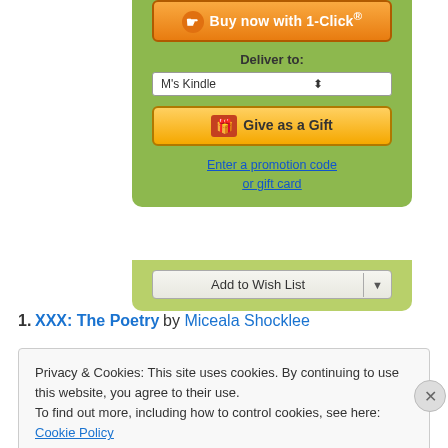[Figure (screenshot): Amazon Kindle purchase widget showing Buy now with 1-Click button, Deliver to M's Kindle dropdown, Give as a Gift button, Enter a promotion code or gift card link, and Add to Wish List button on a green background.]
1. XXX: The Poetry by Miceala Shocklee
Privacy & Cookies: This site uses cookies. By continuing to use this website, you agree to their use.
To find out more, including how to control cookies, see here: Cookie Policy
Close and accept